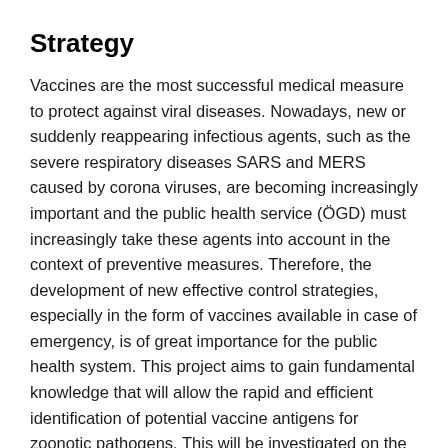Strategy
Vaccines are the most successful medical measure to protect against viral diseases. Nowadays, new or suddenly reappearing infectious agents, such as the severe respiratory diseases SARS and MERS caused by corona viruses, are becoming increasingly important and the public health service (ÖGD) must increasingly take these agents into account in the context of preventive measures. Therefore, the development of new effective control strategies, especially in the form of vaccines available in case of emergency, is of great importance for the public health system. This project aims to gain fundamental knowledge that will allow the rapid and efficient identification of potential vaccine antigens for zoonotic pathogens. This will be investigated on the basis of an infection model with the current zoonotic pathogen Zika virus, which belongs to the Flaviviridae family. Promising ZikV proteins will be